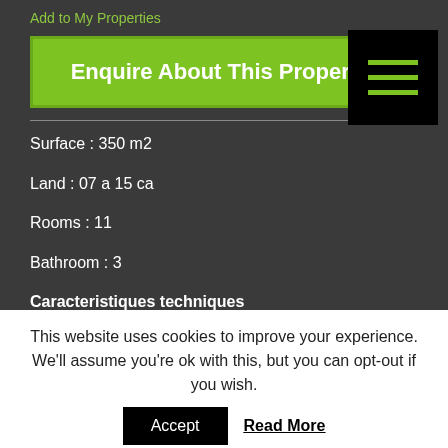Add to My Properties
Enquire About This Property
Surface : 350 m2
Land : 07 a 15 ca
Rooms : 11
Bathroom : 3
Caracteristiques techniques
This website uses cookies to improve your experience. We'll assume you're ok with this, but you can opt-out if you wish.
Accept
Read More